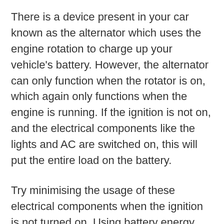There is a device present in your car known as the alternator which uses the engine rotation to charge up your vehicle's battery. However, the alternator can only function when the rotator is on, which again only functions when the engine is running. If the ignition is not on, and the electrical components like the lights and AC are switched on, this will put the entire load on the battery.
Try minimising the usage of these electrical components when the ignition is not turned on. Using battery energy like this adversely impacts the battery and can reduce the lifespan of your car battery costing you more. Battery energy can be used for smaller loads-